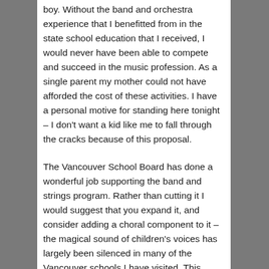boy. Without the band and orchestra experience that I benefitted from in the state school education that I received, I would never have been able to compete and succeed in the music profession.  As a single parent my mother could not have afforded the cost of these activities.  I have a personal motive for standing here tonight – I don't want a kid like me to fall through the cracks because of this proposal.
The Vancouver School Board has done a wonderful job supporting the band and strings program.  Rather than cutting it I would suggest that you expand it, and consider adding a choral component to it – the magical sound of children's voices has largely been silenced in many of the Vancouver schools I have visited.  This should be the legacy of the VSB in these post-Olympic times.